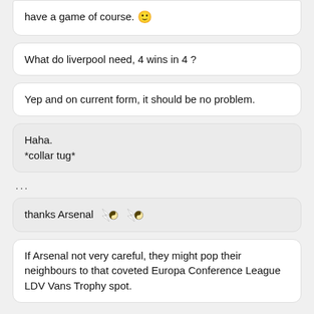have a game of course. 🙂
What do liverpool need, 4 wins in 4 ?
Yep and on current form, it should be no problem.
Haha.
*collar tug*
...
thanks Arsenal [emoji icons]
If Arsenal not very careful, they might pop their neighbours to that coveted Europa Conference League LDV Vans Trophy spot.